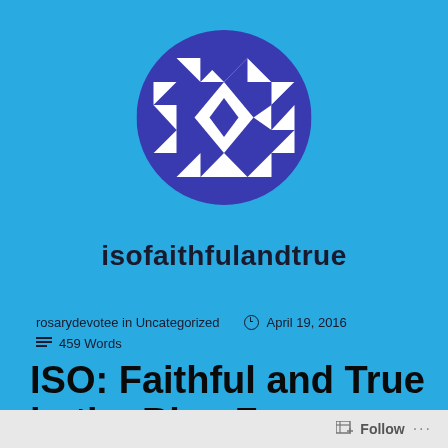[Figure (logo): Circular logo with dark blue/indigo background featuring a geometric quilt-like pattern of white and dark blue triangles and diamond shapes]
isofaithfulandtrue
rosarydevotee in Uncategorized   🕐 April 19, 2016
≡  459 Words
ISO: Faithful and True in the Blue Zone
Follow ...